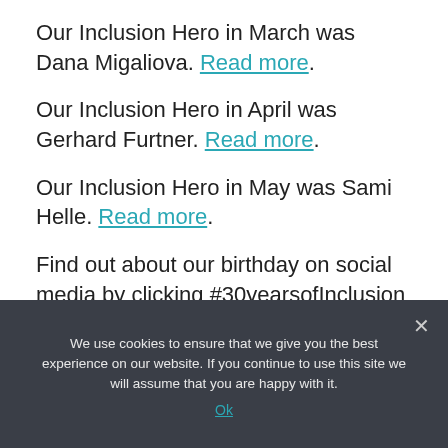Our Inclusion Hero in March was Dana Migaliova. Read more.
Our Inclusion Hero in April was Gerhard Furtner. Read more.
Our Inclusion Hero in May was Sami Helle. Read more.
Find out about our birthday on social media by clicking #30yearsofInclusion on Facebook and Twitter.
We use cookies to ensure that we give you the best experience on our website. If you continue to use this site we will assume that you are happy with it. Ok